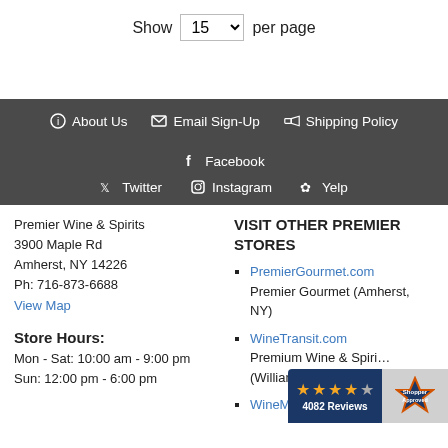Show 15 per page
About Us | Email Sign-Up | Shipping Policy | Facebook | Twitter | Instagram | Yelp
Premier Wine & Spirits
3900 Maple Rd
Amherst, NY 14226
Ph: 716-873-6688
View Map
Store Hours:
Mon - Sat: 10:00 am - 9:00 pm
Sun: 12:00 pm - 6:00 pm
VISIT OTHER PREMIER STORES
PremierGourmet.com
Premier Gourmet (Amherst, NY)
WineTransit.com
Premium Wine & Spirits (Williamsville, NY)
WineMadeEasy.com